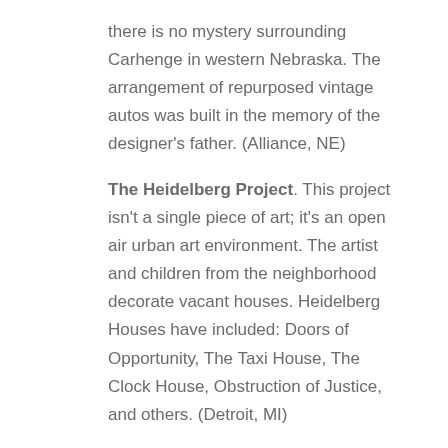there is no mystery surrounding Carhenge in western Nebraska. The arrangement of repurposed vintage autos was built in the memory of the designer's father. (Alliance, NE)
The Heidelberg Project. This project isn't a single piece of art; it's an open air urban art environment. The artist and children from the neighborhood decorate vacant houses. Heidelberg Houses have included: Doors of Opportunity, The Taxi House, The Clock House, Obstruction of Justice, and others. (Detroit, MI)
City Museum. A 10-story, 100-year-old shoe factory in St. Louis was transformed into an urban playground using salvaged materials. It features, "a sky-high jungle gym making use of two